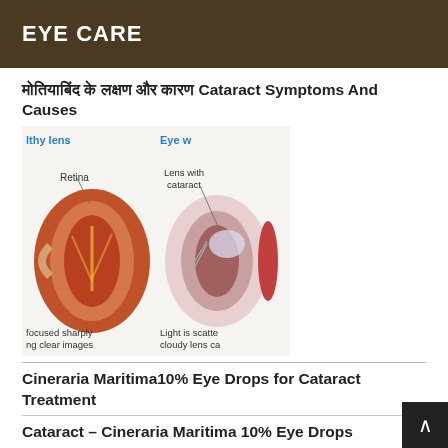EYE CARE
मोतियाबिंद के लक्षण और कारण Cataract Symptoms And Causes
[Figure (illustration): Medical diagram showing cross-sections of a healthy eye (with Retina labeled, focused sharply creating clear images) and an eye with cataract (Lens with cataract labeled, Light is scattered by cloudy lens causing cloudy images). Two eye cross-section illustrations side by side.]
Cineraria Maritima10% Eye Drops for Cataract Treatment
Cataract – Cineraria Maritima 10% Eye Drops
Day-To-Day Eye Problems, Conjunctivitis – Euphrasia 10% Eye drops
Cataract, Photophobia, Irritation In Eyes – Cineraria Maritima